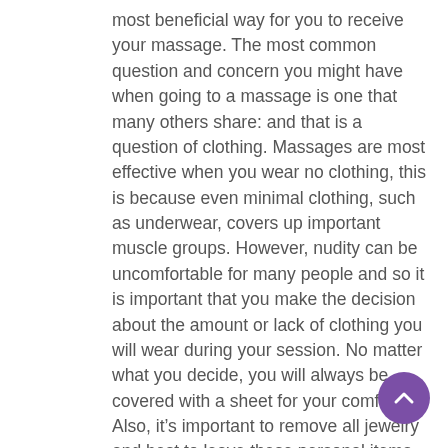most beneficial way for you to receive your massage. The most common question and concern you might have when going to a massage is one that many others share: and that is a question of clothing. Massages are most effective when you wear no clothing, this is because even minimal clothing, such as underwear, covers up important muscle groups. However, nudity can be uncomfortable for many people and so it is important that you make the decision about the amount or lack of clothing you will wear during your session. No matter what you decide, you will always be covered with a sheet for your comfort. Also, it’s important to remove all jewelry and best to leave these personal items at home. Once you have decided on your level of dress, it’s time for you to get comfortable on the massage table. Here’s where it’s time to begin your relaxation.
Some tips: